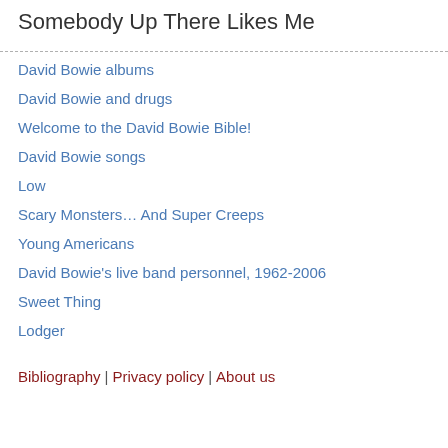Somebody Up There Likes Me
David Bowie albums
David Bowie and drugs
Welcome to the David Bowie Bible!
David Bowie songs
Low
Scary Monsters… And Super Creeps
Young Americans
David Bowie's live band personnel, 1962-2006
Sweet Thing
Lodger
Bibliography | Privacy policy | About us